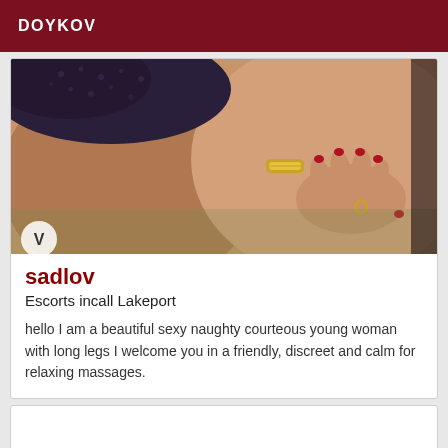DOYKOV
[Figure (photo): Close-up photo of a woman's midsection wearing dark lace underwear with a gold bracelet on wrist, red painted fingernails visible]
sadlov
Escorts incall Lakeport
hello I am a beautiful sexy naughty courteous young woman with long legs I welcome you in a friendly, discreet and calm for relaxing massages.